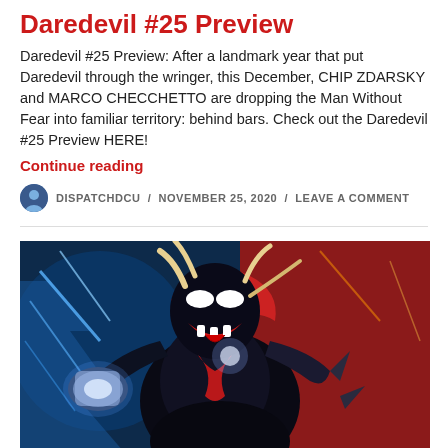Daredevil #25 Preview
Daredevil #25 Preview: After a landmark year that put Daredevil through the wringer, this December, CHIP ZDARSKY and MARCO CHECCHETTO are dropping the Man Without Fear into familiar territory: behind bars. Check out the Daredevil #25 Preview HERE!
Continue reading
DISPATCHDCU / NOVEMBER 25, 2020 / LEAVE A COMMENT
[Figure (illustration): Comic book art showing a symbiote-Thor character wielding a glowing hammer, with blue lightning effects on the left and a red background on the right. The figure has the black Venom symbiote over the Thor costume, with white glowing eyes and teeth exposed.]